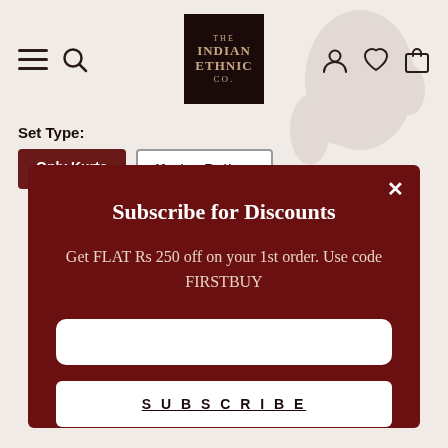[Figure (screenshot): The Indian Ethnic Co. website header with hamburger menu, search icon, logo, user icon, wishlist icon, and shopping bag icon]
Set Type:
Only Kurta
Kurta +Bottom
Subscribe for Discounts
Get FLAT Rs 250 off on your 1st order. Use code FIRSTBUY
SUBSCRIBE